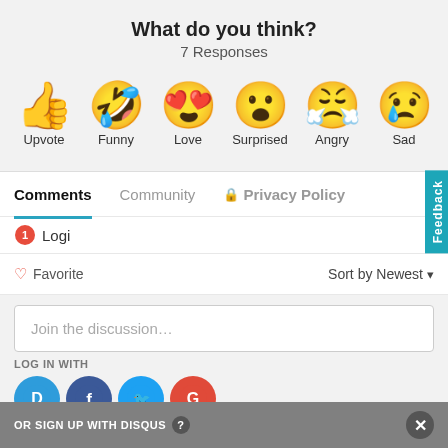What do you think?
7 Responses
[Figure (infographic): Six emoji reaction icons with labels: Upvote (thumbs up), Funny (laughing face with tongue), Love (heart eyes), Surprised (surprised face), Angry (crying/angry face), Sad (sad face with tear)]
Comments  Community  🔒 Privacy Policy
1  Logi  Feedback
♡ Favorite  Sort by Newest ▾
Join the discussion…
LOG IN WITH
[Figure (logo): Four social login icons: Disqus (D), Facebook (f), Twitter bird, Google (G)]
OR SIGN UP WITH DISQUS ?  ✕